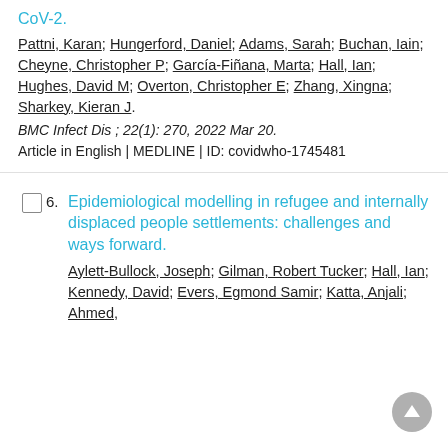CoV-2.
Pattni, Karan; Hungerford, Daniel; Adams, Sarah; Buchan, Iain; Cheyne, Christopher P; García-Fiñana, Marta; Hall, Ian; Hughes, David M; Overton, Christopher E; Zhang, Xingna; Sharkey, Kieran J.
BMC Infect Dis ; 22(1): 270, 2022 Mar 20.
Article in English | MEDLINE | ID: covidwho-1745481
Epidemiological modelling in refugee and internally displaced people settlements: challenges and ways forward.
Aylett-Bullock, Joseph; Gilman, Robert Tucker; Hall, Ian; Kennedy, David; Evers, Egmond Samir; Katta, Anjali; Ahmed,